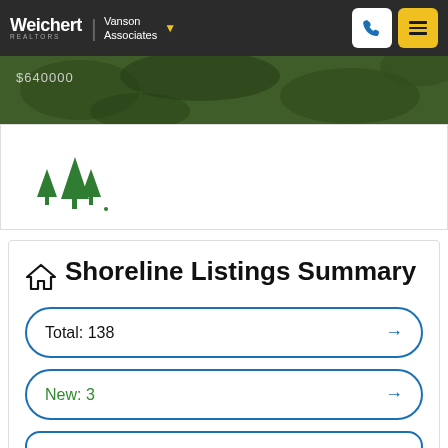Weichert Realtors | Vanson Associates
[Figure (photo): Aerial view of wooded neighborhood with price label '$640,000' partially visible]
[Figure (logo): Green pine tree logo with three stylized triangular trees]
Shoreline Listings Summary
Total: 138
New: 3